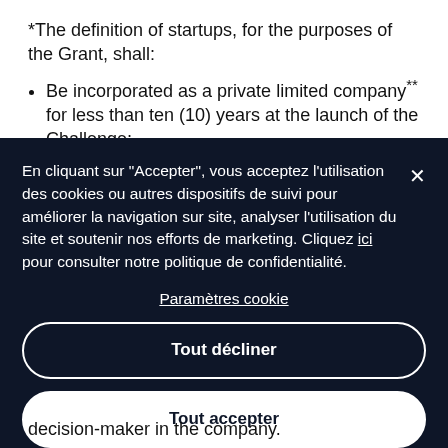*The definition of startups, for the purposes of the Grant, shall:
Be incorporated as a private limited company** for less than ten (10) years at the launch of the Challenge;
[Figure (screenshot): Cookie consent overlay in French on a dark navy background. Text reads: En cliquant sur "Accepter", vous acceptez l'utilisation des cookies ou autres dispositifs de suivi pour améliorer la navigation sur site, analyser l'utilisation du site et soutenir nos efforts de marketing. Cliquez ici pour consulter notre politique de confidentialité. Links: Paramètres cookie. Buttons: Tout décliner, Tout accepter.]
decision-maker in the company.